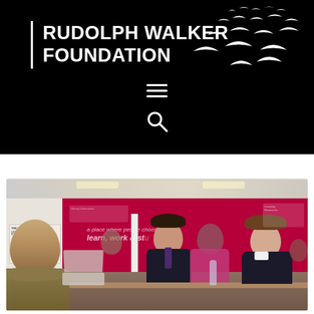[Figure (logo): Rudolph Walker Foundation logo: white vertical bar, white bold text 'RUDOLPH WALKER FOUNDATION', white flying birds/seagulls silhouettes on black background, with hamburger menu icon and search icon below]
[Figure (photo): Photograph of a classroom/meeting room setting with red walls. A bald man in a brown jacket is seen from behind, sitting across from two young female students in school uniforms. Other people visible in the background. A sign on the wall reads 'a place where people choose to learn, work & study'.]